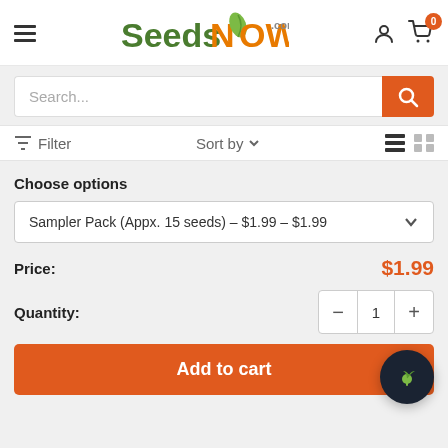[Figure (logo): SeedsNow.com logo with green and orange text and a leaf graphic]
Search...
Filter   Sort by   ⋮≡  ⊞
Choose options
Sampler Pack (Appx. 15 seeds) – $1.99 – $1.99
Price: $1.99
Quantity:
Add to cart